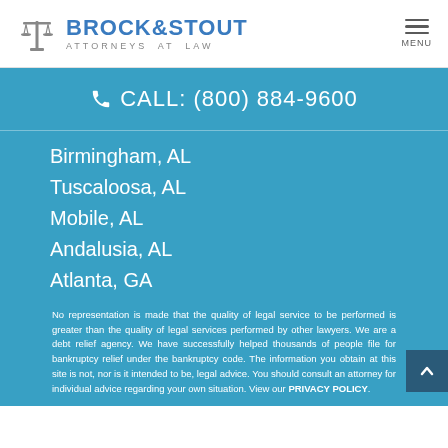BROCK & STOUT ATTORNEYS AT LAW — MENU
CALL: (800) 884-9600
Birmingham, AL
Tuscaloosa, AL
Mobile, AL
Andalusia, AL
Atlanta, GA
No representation is made that the quality of legal service to be performed is greater than the quality of legal services performed by other lawyers. We are a debt relief agency. We have successfully helped thousands of people file for bankruptcy relief under the bankruptcy code. The information you obtain at this site is not, nor is it intended to be, legal advice. You should consult an attorney for individual advice regarding your own situation. View our PRIVACY POLICY.